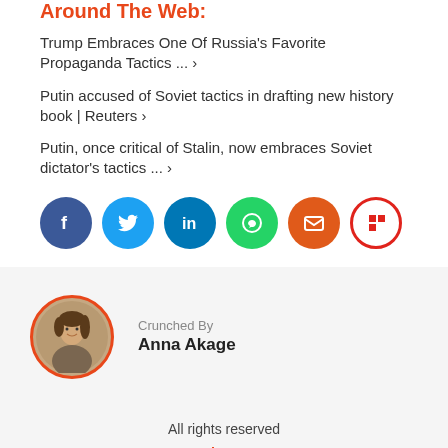Around The Web:
Trump Embraces One Of Russia's Favorite Propaganda Tactics ... ›
Putin accused of Soviet tactics in drafting new history book | Reuters ›
Putin, once critical of Stalin, now embraces Soviet dictator's tactics ... ›
[Figure (infographic): Row of 6 social share buttons: Facebook (blue), Twitter (light blue), LinkedIn (dark blue), WhatsApp (green), Email (orange), Flipboard (red/white)]
Crunched By
Anna Akage
All rights reserved
[Figure (logo): WORLDCRUNCH in orange text and WORLDCRUNCH in white on dark navy background, separated by orange vertical line]